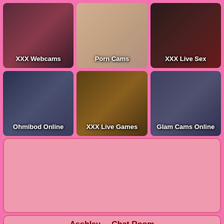[Figure (other): Grid of 6 webcam category thumbnails: XXX Webcams, Porn Cams, XXX Live Sex, Ohmibod Online, XXX Live Games, Glam Cams Online]
[Figure (other): Pink advertisement placeholder box]
Asshley__ Chat Room
Page numbers 1 through 11 in circles